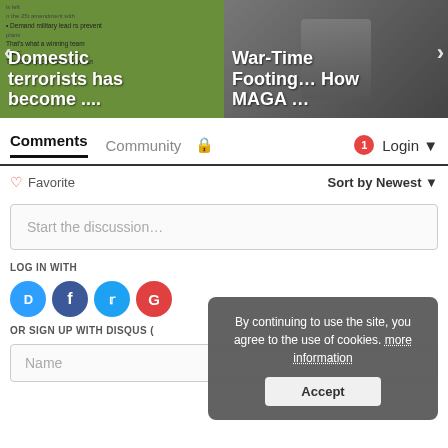[Figure (screenshot): Two news article thumbnails side by side. Left: green background with text 'Domestic terrorists has become ...' Right: dark background with politician photo and text 'War-Time Footing... How MAGA ...']
Comments   Community  🔒   1  Login
♡ Favorite     Sort by Newest ▾
Start the discussion...
LOG IN WITH
OR SIGN UP WITH DISQUS (
Name
By continuing to use the site, you agree to the use of cookies. more information
Accept